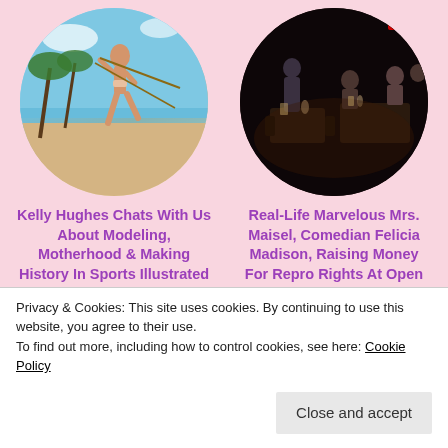[Figure (photo): Circular cropped photo of a woman in a swimsuit on a beach with palm trees and blue sky]
[Figure (photo): Circular cropped photo of people seated at restaurant tables in a dark venue]
Kelly Hughes Chats With Us About Modeling, Motherhood & Making History In Sports Illustrated
Real-Life Marvelous Mrs. Maisel, Comedian Felicia Madison, Raising Money For Repro Rights At Open Mic Night
Privacy & Cookies: This site uses cookies. By continuing to use this website, you agree to their use.
To find out more, including how to control cookies, see here: Cookie Policy
Close and accept